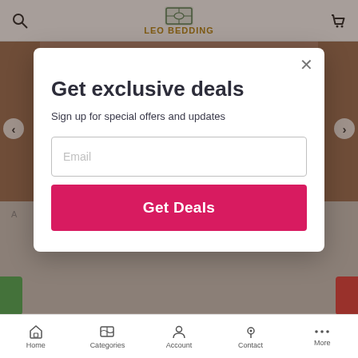LEO BEDDING
[Figure (screenshot): Background of a bedding/home goods website showing a product image slider with wooden/textile items, navigation arrows, and a dimmed overlay behind the modal.]
Get exclusive deals
Sign up for special offers and updates
Email
Get Deals
Home   Categories   Account   Contact   More